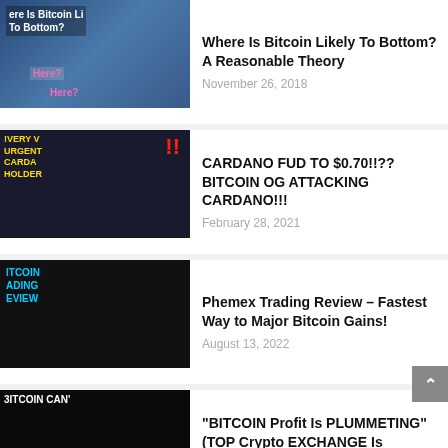Where Is Bitcoin Likely To Bottom? A Reasonable Theory — November 26, 2018
CARDANO FUD TO $0.70!!?? BITCOIN OG ATTACKING CARDANO!!! — February 28, 2021
Phemex Trading Review – Fastest Way to Major Bitcoin Gains! — August 13, 2022
"BITCOIN Profit Is PLUMMETING" (TOP Crypto EXCHANGE Is DISSOLVING) — June 23, 2022
Friday Livestream Feat. Kowala Stablecoin Interv — September 7, 2018